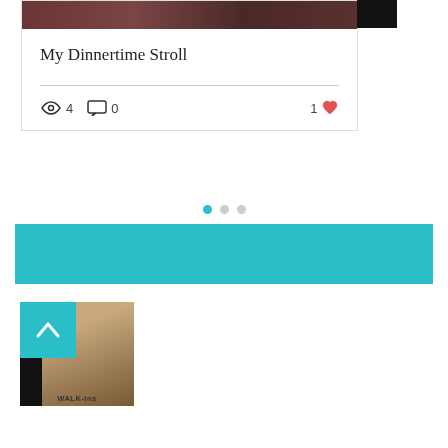[Figure (photo): Blog post card showing a dark reddish photo at top, title 'My Dinnertime Stroll', a divider line, and stats: 4 views, 0 comments, 1 like]
My Dinnertime Stroll
4   0   1
[Figure (infographic): Three pagination dots: first dot teal/active, second and third dots light gray/inactive]
[Figure (other): Teal/turquoise horizontal banner bar]
[Figure (photo): Thumbnail image showing a person with text WALK-ins at the bottom, with a teal square overlay containing an upward-pointing chevron arrow]